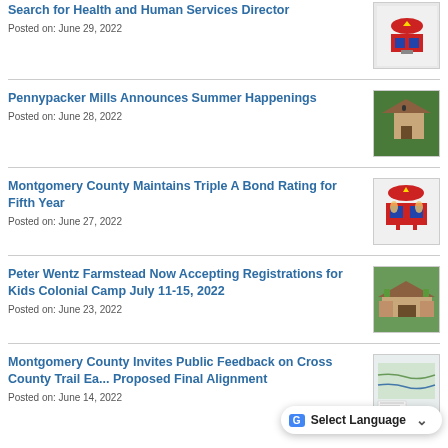Search for Health and Human Services Director
Posted on: June 29, 2022
Pennypacker Mills Announces Summer Happenings
Posted on: June 28, 2022
Montgomery County Maintains Triple A Bond Rating for Fifth Year
Posted on: June 27, 2022
Peter Wentz Farmstead Now Accepting Registrations for Kids Colonial Camp July 11-15, 2022
Posted on: June 23, 2022
Montgomery County Invites Public Feedback on Cross County Trail Ea... Proposed Final Alignment
Posted on: June 14, 2022